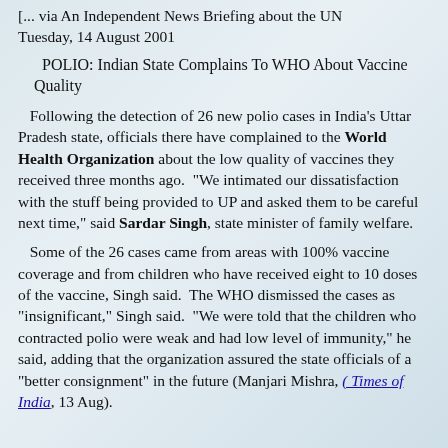[... via An Independent News Briefing about the UN
Tuesday, 14 August 2001
POLIO: Indian State Complains To WHO About Vaccine Quality
Following the detection of 26 new polio cases in India's Uttar Pradesh state, officials there have complained to the World Health Organization about the low quality of vaccines they received three months ago. "We intimated our dissatisfaction with the stuff being provided to UP and asked them to be careful next time," said Sardar Singh, state minister of family welfare.
Some of the 26 cases came from areas with 100% vaccine coverage and from children who have received eight to 10 doses of the vaccine, Singh said. The WHO dismissed the cases as "insignificant," Singh said. "We were told that the children who contracted polio were weak and had low level of immunity," he said, adding that the organization assured the state officials of a "better consignment" in the future (Manjari Mishra, ( Times of India, 13 Aug).